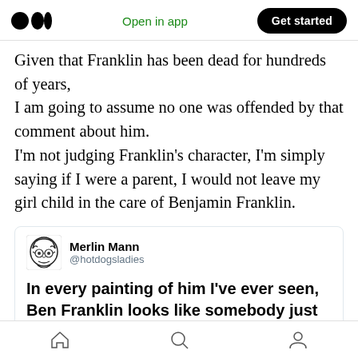Medium logo | Open in app | Get started
Given that Franklin has been dead for hundreds of years,
I am going to assume no one was offended by that comment about him.
I'm not judging Franklin's character, I'm simply saying if I were a parent, I would not leave my girl child in the care of Benjamin Franklin.
[Figure (screenshot): Tweet card from Merlin Mann (@hotdogsladies) showing a cartoon avatar, username, and beginning of tweet text: 'In every painting of him I've ever seen, Ben Franklin looks like somebody just stole his']
Navigation bar with home, search, and profile icons